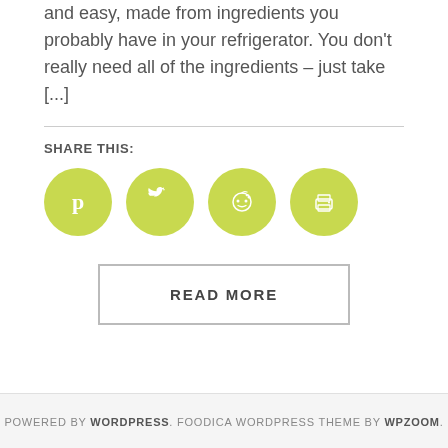and easy, made from ingredients you probably have in your refrigerator. You don't really need all of the ingredients – just take [...]
SHARE THIS:
[Figure (other): Four circular green social share buttons: Pinterest, Twitter, Reddit, Print]
READ MORE
POWERED BY WORDPRESS. FOODICA WORDPRESS THEME BY WPZOOM.